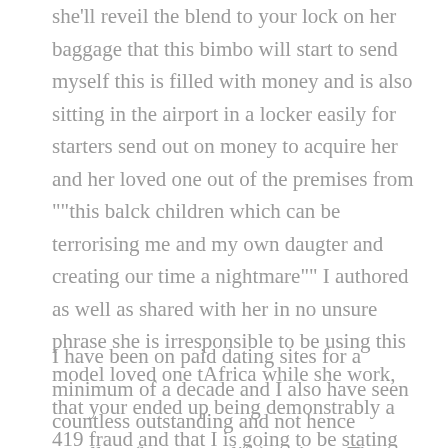she'll reveil the blend to your lock on her baggage that this bimbo will start to send myself this is filled with money and is also sitting in the airport in a locker easily for starters send out on money to acquire her and her loved one out of the premises from ""this balck children which can be terrorising me and my own daugter and creating our time a nightmare"" I authored as well as shared with her in no unsure phrase she is irresponsible to be using this model loved one tAfrica while she work, that your ended up being demonstrably a 419 fraud and that I is going to be stating this model into site all of us came across on and become notice all other customers of that internet site.
I have been on paid dating sites for a minimum of a decade and I also have seen countless outstanding and not hence excellent (but true to life) reviews. The one